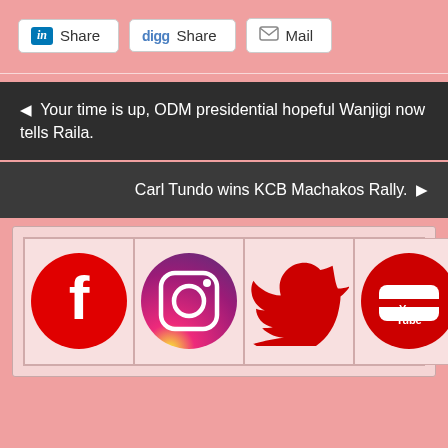[Figure (infographic): Three social share buttons: LinkedIn Share, Digg Share, Mail]
◀ Your time is up, ODM presidential hopeful Wanjigi now tells Raila.
Carl Tundo wins KCB Machakos Rally. ▶
[Figure (infographic): Social media icons grid: Facebook, Instagram, Twitter, YouTube]